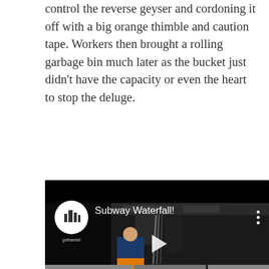control the reverse geyser and cordoning it off with a big orange thimble and caution tape. Workers then brought a rolling garbage bin much later as the bucket just didn't have the capacity or even the heart to stop the deluge.
[Figure (screenshot): YouTube video thumbnail showing 'Subway Waterfall!' by Gothamist. Scene shows subway workers dealing with a water flood in a station, with a yellow bucket visible. Play button in center.]
[Figure (photo): Three photos side by side showing subway station flooding scenes with water.]